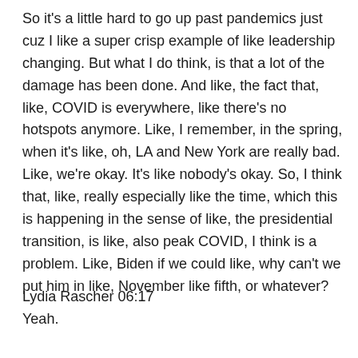So it's a little hard to go up past pandemics just cuz I like a super crisp example of like leadership changing. But what I do think, is that a lot of the damage has been done. And like, the fact that, like, COVID is everywhere, like there's no hotspots anymore. Like, I remember, in the spring, when it's like, oh, LA and New York are really bad. Like, we're okay. It's like nobody's okay. So, I think that, like, really especially like the time, which this is happening in the sense of like, the presidential transition, is like, also peak COVID, I think is a problem. Like, Biden if we could like, why can't we put him in like, November like fifth, or whatever?
Lydia Rascher 06:17
Yeah.